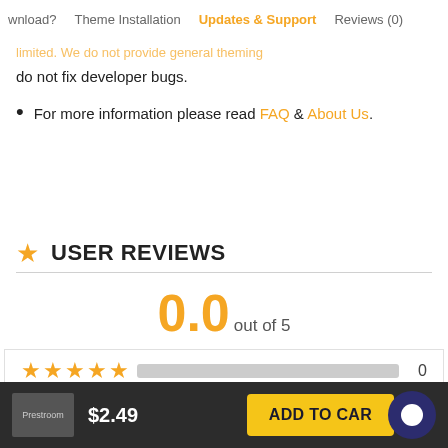wnload?  Theme Installation  Updates & Support  Reviews (0)
do not fix developer bugs.
For more information please read FAQ & About Us.
USER REVIEWS
0.0 out of 5
★★★★★  [bar]  0
$2.49  ADD TO CART